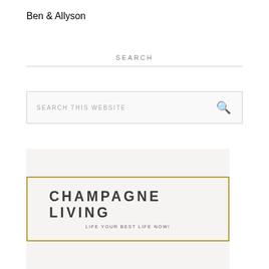Ben & Allyson
SEARCH
[Figure (other): Search box with placeholder text 'SEARCH THIS WEBSITE' and a magnifying glass icon on the right]
[Figure (logo): Champagne Living logo with gold border rectangle, bold text 'CHAMPAGNE LIVING' and subtitle 'LIFE YOUR BEST LIFE NOW!' on a light gray background]